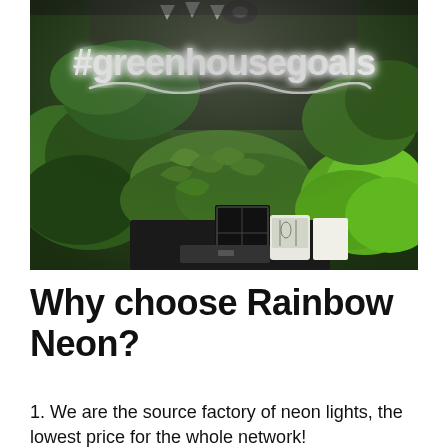[Figure (photo): A greenhouse/plant shop display with lush green plants including ivy and leafy greens. A white neon sign reads '#greenhousegoals' in cursive script. Various plant pots and a black metal terrarium are visible.]
Why choose Rainbow Neon?
1. We are the source factory of neon lights, the lowest price for the whole network!